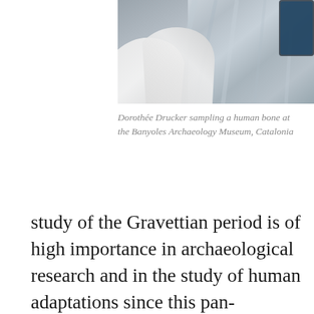[Figure (photo): Photograph of Dorothée Drucker sampling a human bone at the Banyoles Archaeology Museum, Catalonia. White-gloved hands working with reflective foil/material.]
Dorothée Drucker sampling a human bone at the Banyoles Archaeology Museum, Catalonia
study of the Gravettian period is of high importance in archaeological research and in the study of human adaptations since this pan-European culture (30,000 to 20,000 years ago) was the first to be unmistakably associated with modern human remains in Europe. From the Ural to the Atlantic Ocean, the Gravettian culture is characterized by similarities in tool morphology and the generalization of artistic expression as we see with the “Venus figurines”. However,